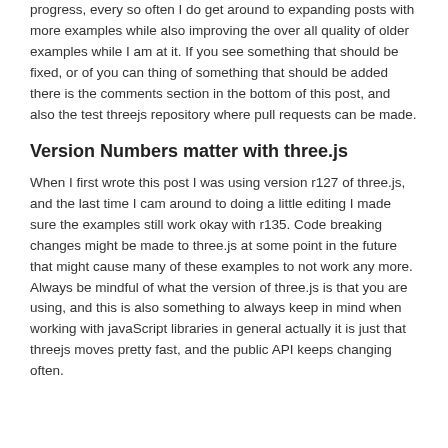progress, every so often I do get around to expanding posts with more examples while also improving the over all quality of older examples while I am at it. If you see something that should be fixed, or of you can thing of something that should be added there is the comments section in the bottom of this post, and also the test threejs repository where pull requests can be made.
Version Numbers matter with three.js
When I first wrote this post I was using version r127 of three.js, and the last time I cam around to doing a little editing I made sure the examples still work okay with r135. Code breaking changes might be made to three.js at some point in the future that might cause many of these examples to not work any more. Always be mindful of what the version of three.js is that you are using, and this is also something to always keep in mind when working with javaScript libraries in general actually it is just that threejs moves pretty fast, and the public API keeps changing often.